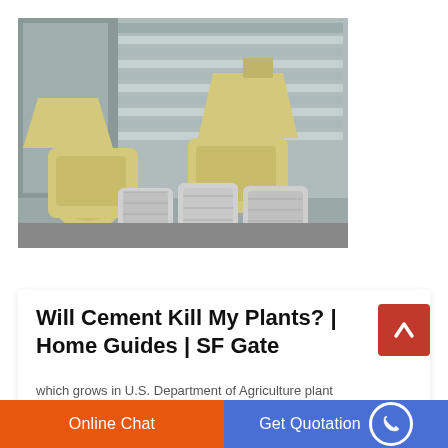[Figure (photo): Industrial hammer mill/crusher machines in yellow color parked in front of a large grey industrial building, with several large grey bulk bags stacked in front of them on a concrete floor.]
Will Cement Kill My Plants? | Home Guides | SF Gate
which grows in U.S. Department of Agriculture plant